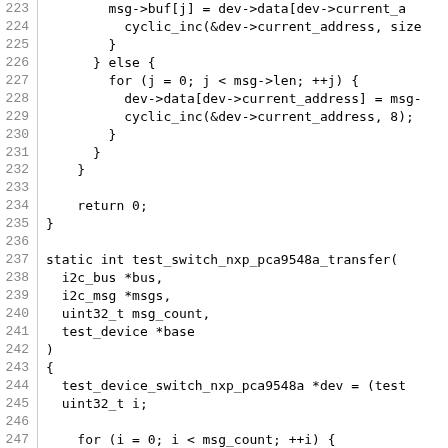Source code listing, lines 223-252, C programming language showing i2c device driver functions including test_switch_nxp_pca9548a_transfer